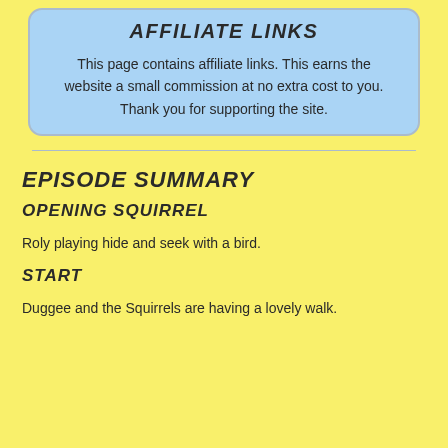AFFILIATE LINKS
This page contains affiliate links. This earns the website a small commission at no extra cost to you. Thank you for supporting the site.
EPISODE SUMMARY
OPENING SQUIRREL
Roly playing hide and seek with a bird.
START
Duggee and the Squirrels are having a lovely walk.